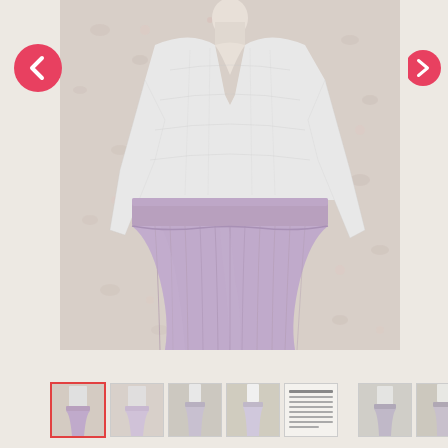[Figure (photo): Main product photo showing a mannequin wearing a white lace long-sleeve top with a deep V-neckline and a long flowing lavender/mauve tulle skirt with wide waistband, against a floral wallpaper background.]
[Figure (photo): Navigation left arrow button (red circle with white chevron).]
[Figure (photo): Navigation right arrow button (red circle with white chevron), partially visible on right edge.]
[Figure (photo): Thumbnail strip showing 9 small product images for the dress/skirt listing.]